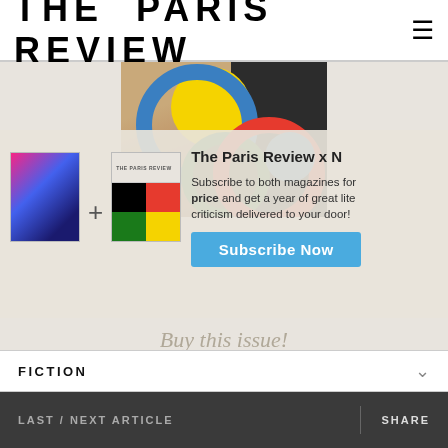THE PARIS REVIEW
[Figure (photo): Magazine cover of The Paris Review showing a person's face with colorful vinyl record circles overlaid in yellow, blue, red, and green]
[Figure (infographic): Promotional overlay showing two magazine covers (New York Review and The Paris Review) with a plus sign between them, and text: 'The Paris Review x N... Subscribe to both magazines for... price and get a year of great lite... criticism delivered to your door!' with a 'Subscribe Now' blue button]
Buy this issue!
FICTION
LAST / NEXT ARTICLE   SHARE